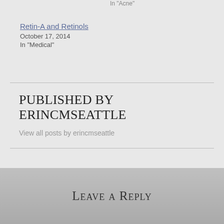In "Acne"
Retin-A and Retinols
October 17, 2014
In "Medical"
Published by erincmseattle
View all posts by erincmseattle
Leave a Reply